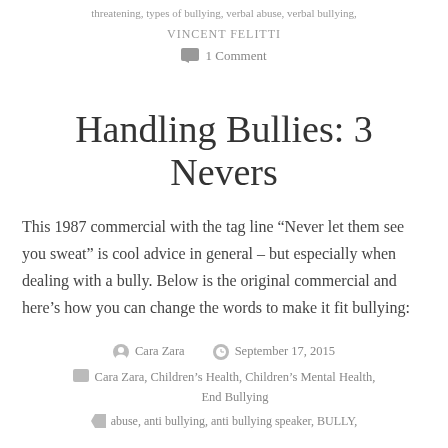threatening, types of bullying, verbal abuse, verbal bullying.
VINCENT FELITTI
1 Comment
Handling Bullies: 3 Nevers
This 1987 commercial with the tag line “Never let them see you sweat” is cool advice in general – but especially when dealing with a bully. Below is the original commercial and here’s how you can change the words to make it fit bullying:
Cara Zara   September 17, 2015
Cara Zara, Children’s Health, Children’s Mental Health, End Bullying
abuse, anti bullying, anti bullying speaker, BULLY,